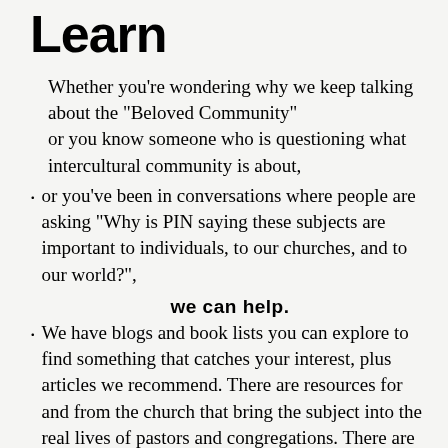Learn
Whether you're wondering why we keep talking about the "Beloved Community"
or you know someone who is questioning what intercultural community is about,
or you've been in conversations where people are asking "Why is PIN saying these subjects are important to individuals, to our churches, and to our world?",
we can help.
We have blogs and book lists you can explore to find something that catches your interest, plus articles we recommend. There are resources for and from the church that bring the subject into the real lives of pastors and congregations. There are study guides and workbooks which are useable by individuals in some cases